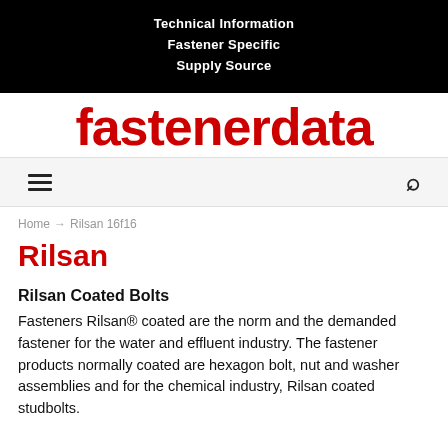Technical Information
Fastener Specific
Supply Source
fastenerdata
Rilsan
Home → Rilsan 16f16
Rilsan Coated Bolts
Fasteners Rilsan® coated are the norm and the demanded fastener for the water and effluent industry. The fastener products normally coated are hexagon bolt, nut and washer assemblies and for the chemical industry, Rilsan coated studbolts.